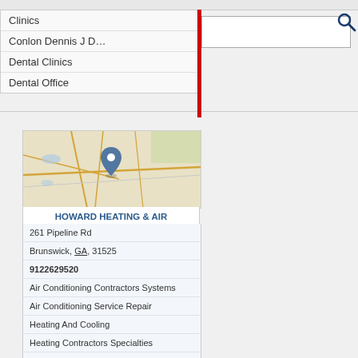[Figure (screenshot): Dropdown autocomplete list with items: Clinics, Conlon Dennis J D, Dental Clinics, Dental Office; a red vertical bar separator; and a search text input box with a search icon (magnifying glass)]
[Figure (map): Street map with a location pin marker for Howard Heating & Air in Brunswick, GA]
HOWARD HEATING & AIR
261 Pipeline Rd
Brunswick, GA, 31525
9122629520
Air Conditioning Contractors Systems
Air Conditioning Service Repair
Heating And Cooling
Heating Contractors Specialties
Hvac Contractors
[Figure (map): Street map with a location pin marker for a second business listing]